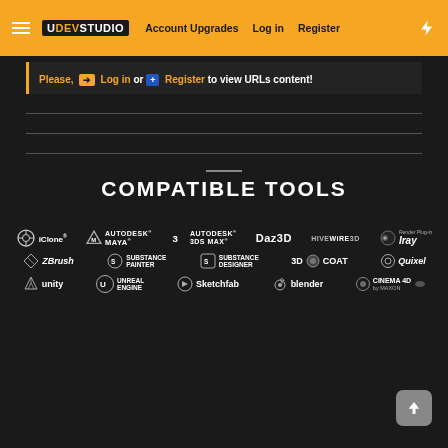UDEVSTUDIO — Account Upgrades | Log in | Register
Please, Log in or Register to view URLs content!
COMPATIBLE TOOLS
[Figure (logo): Compatible tools logos: iClone, Autodesk Maya, Autodesk 3DS Max, Daz3D, HiveWire3D, Iray, ZBrush, Substance Painter, Substance Designer, 3DCoat, Quixel, Unity, Unreal Engine, Sketchfab, Blender, Cinema 4D by Maxon]